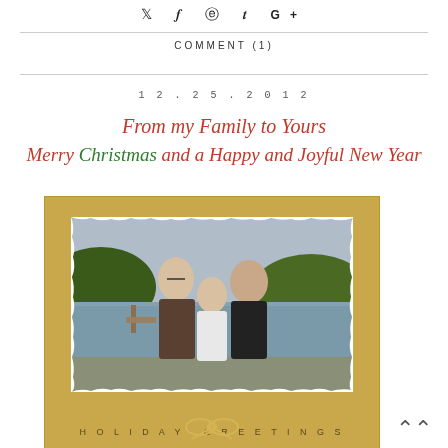✦ f ⊙ t G+
COMMENT (1)
12.25.2012
From my Family to Yours
Merry Christmas and a Happy and Joyful New Year
[Figure (photo): A Christmas greeting card with gold border showing a family of three (man, young girl, woman) standing outdoors near a lake or river with hills in background. Text reads HOLIDAY GREETINGS at the bottom.]